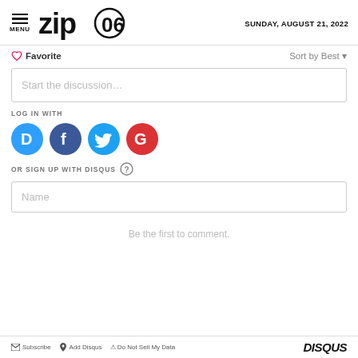MENU | zip06 | SUNDAY, AUGUST 21, 2022
♡ Favorite
Sort by Best ▾
Start the discussion…
LOG IN WITH
[Figure (other): Social login icons: Disqus (blue D), Facebook (dark blue f), Twitter (blue bird), Google (red G)]
OR SIGN UP WITH DISQUS ?
Name
Be the first to comment.
Subscribe | Add Disqus | Do Not Sell My Data | DISQUS